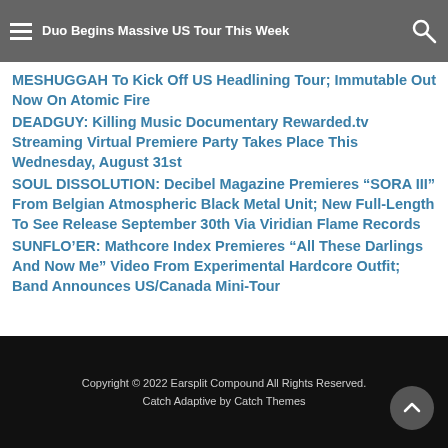Duo Begins Massive US Tour This Week
MESHUGGAH To Kick Off US Headlining Tour; Immutable Out Now On Atomic Fire
DEADGUY: Killing Music Documentary Rewarded.tv Streaming Virtual Premiere Party Takes Place This Wednesday, August 31st
SOUL DISSOLUTION: Decibel Magazine Premieres "SORA III" From Belgian Atmospheric Black Metal Unit; New Full-Length To See Release September 30th Via Viridian Flame Records
SUNFLO'ER: Mathcore Index Premieres “All These Darlings And Now Me” Video From Experimental Hardcore Outfit; Band Announces US/Canada Mini-Tour
Copyright © 2022 Earsplit Compound All Rights Reserved.
Catch Adaptive by Catch Themes